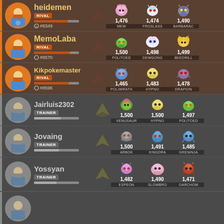heidemen | RIVAL | #8349 | Mew 1,476 | Froslass 1,474 | Barbarac 1,490
MemoLaba | RIVAL | #8570 | Politoed 1,500 | Dewgong 1,498 | Beedrill 1,499
Kikpokemaster | RIVAL | #8596 | Poliwrath 1,465 | Hypno 1,483 | Drapion 1,478
Jairluis2302 | TRAINER | Venusaur 1,500 | Hypno 1,500 | Politoed 1,497
Jovaing | TRAINER | Arbok 1,500 | Kingdra 1,491 | Greninja 1,485
Yossyan | TRAINER | Espeon 1,482 | Slowbro 1,490 | Garchom 1,471